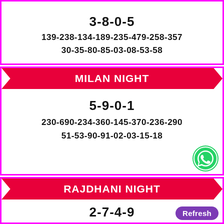3-8-0-5
139-238-134-189-235-479-258-357
30-35-80-85-03-08-53-58
MILAN NIGHT
5-9-0-1
230-690-234-360-145-370-236-290
51-53-90-91-02-03-15-18
RAJDHANI NIGHT
2-7-4-9
147-480-359-269-158-347-135-379